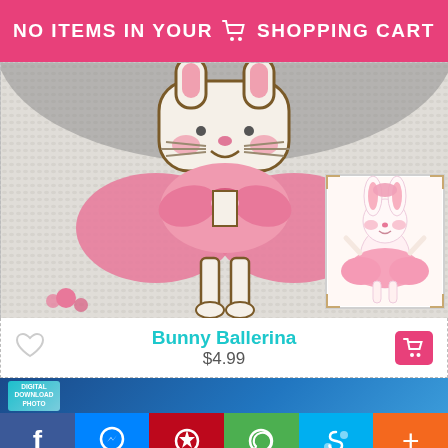NO ITEMS IN YOUR SHOPPING CART
[Figure (photo): Close-up of a crochet/cross-stitch bunny ballerina pattern in white fabric with pink tutu and brown outlines, with a small thumbnail inset showing the original cartoon bunny ballerina illustration]
Bunny Ballerina
$4.99
[Figure (photo): Partial view of another product listing below - appears to be a digital download product with blue background and a diagonal badge]
f
Messenger icon
Pinterest icon
WhatsApp icon
Skype icon
+